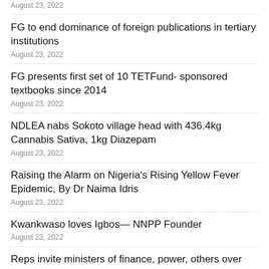August 23, 2022
FG to end dominance of foreign publications in tertiary institutions
August 23, 2022
FG presents first set of 10 TETFund- sponsored textbooks since 2014
August 23, 2022
NDLEA nabs Sokoto village head with 436.4kg Cannabis Sativa, 1kg Diazepam
August 23, 2022
Raising the Alarm on Nigeria's Rising Yellow Fever Epidemic, By Dr Naima Idris
August 23, 2022
Kwankwaso loves Igbos— NNPP Founder
August 23, 2022
Reps invite ministers of finance, power, others over